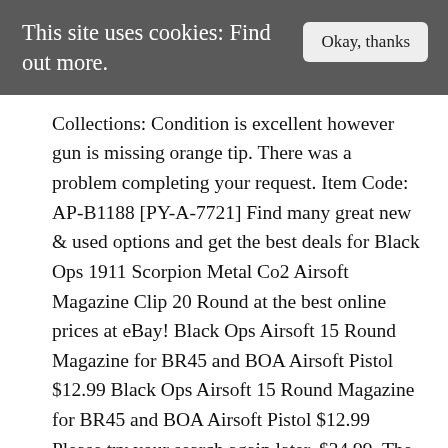This site uses cookies: Find out more.
Collections: Condition is excellent however gun is missing orange tip. There was a problem completing your request. Item Code: AP-B1188 [PY-A-7721] Find many great new & used options and get the best deals for Black Ops 1911 Scorpion Metal Co2 Airsoft Magazine Clip 20 Round at the best online prices at eBay! Black Ops Airsoft 15 Round Magazine for BR45 and BOA Airsoft Pistol $12.99 Black Ops Airsoft 15 Round Magazine for BR45 and BOA Airsoft Pistol $12.99 Please try your search again later. $34.99. The Black Ops 1911 Scorpion has all the